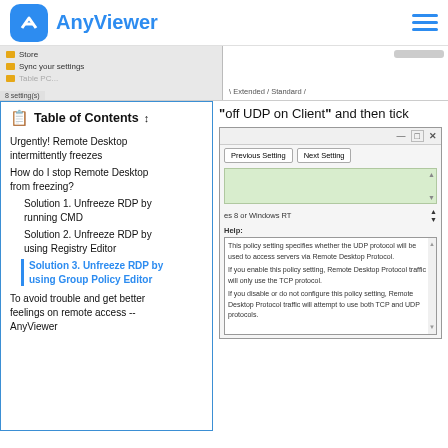AnyViewer
[Figure (screenshot): Windows settings/file manager screenshot strip showing folders: Store, Sync your settings, with scrollbar and tab area showing Extended / Standard]
"Turn off UDP on Client" and then tick
Table of Contents
Urgently! Remote Desktop intermittently freezes
How do I stop Remote Desktop from freezing?
Solution 1. Unfreeze RDP by running CMD
Solution 2. Unfreeze RDP by using Registry Editor
Solution 3. Unfreeze RDP by using Group Policy Editor
To avoid trouble and get better feelings on remote access -- AnyViewer
[Figure (screenshot): Windows Group Policy Editor dialog showing Previous Setting and Next Setting buttons, a green configuration area, help text explaining UDP protocol policy setting for Remote Desktop Protocol]